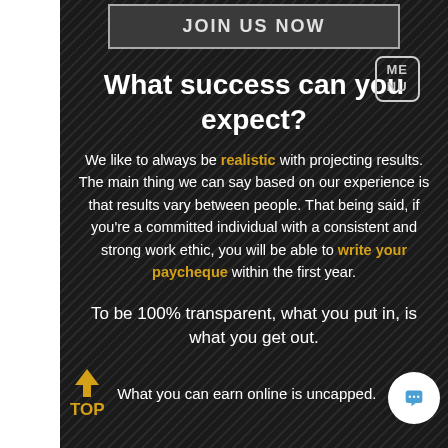JOIN US NOW
What success can you expect?
We like to always be realistic with projecting results. The main thing we can say based on our experience is that results vary between people. That being said, if you're a committed individual with a consistent and strong work ethic, you will be able to write your paycheque within the first year.
To be 100% transparent, what you put in, is what you get out.
What you can earn online is uncapped.